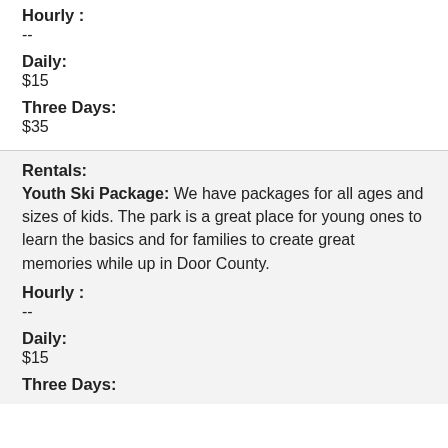Hourly :
--
Daily:
$15
Three Days:
$35
Rentals:
Youth Ski Package:  We have packages for all ages and sizes of kids.  The park is a great place for young ones to learn the basics and for families to create great memories while up in Door County.
Hourly :
--
Daily:
$15
Three Days: